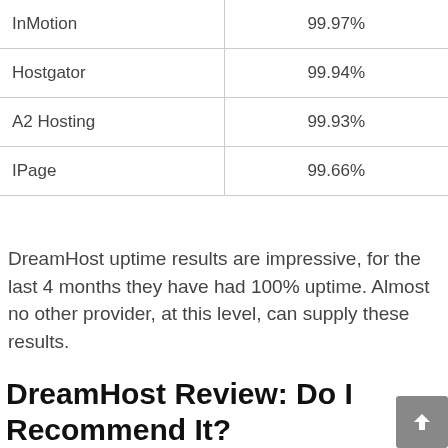| Provider | Uptime |
| --- | --- |
| InMotion | 99.97% |
| Hostgator | 99.94% |
| A2 Hosting | 99.93% |
| IPage | 99.66% |
DreamHost uptime results are impressive, for the last 4 months they have had 100% uptime. Almost no other provider, at this level, can supply these results.
DreamHost Review: Do I Recommend It?